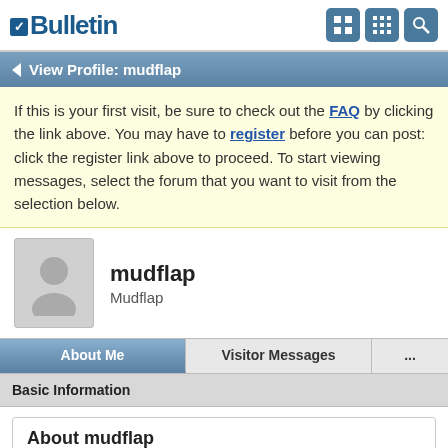vBulletin
View Profile: mudflap
If this is your first visit, be sure to check out the FAQ by clicking the link above. You may have to register before you can post: click the register link above to proceed. To start viewing messages, select the forum that you want to visit from the selection below.
mudflap
Mudflap
About Me | Visitor Messages | ...
Basic Information
About mudflap